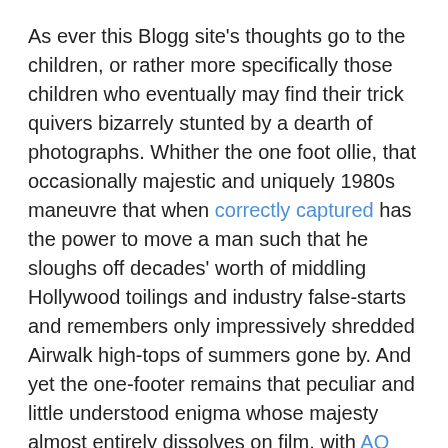As ever this Blogg site's thoughts go to the children, or rather more specifically those children who eventually may find their trick quivers bizarrely stunted by a dearth of photographs. Whither the one foot ollie, that occasionally majestic and uniquely 1980s maneuvre that when correctly captured has the power to move a man such that he sloughs off decades' worth of middling Hollywood toilings and industry false-starts and remembers only impressively shredded Airwalk high-tops of summers gone by. And yet the one-footer remains that peculiar and little understood enigma whose majesty almost entirely dissolves on film, with AO and Antwuan Dixon turning in some bizarre renditions lately and Grant Taylor's comparatively more classic execution residing on transition rather than the streets.